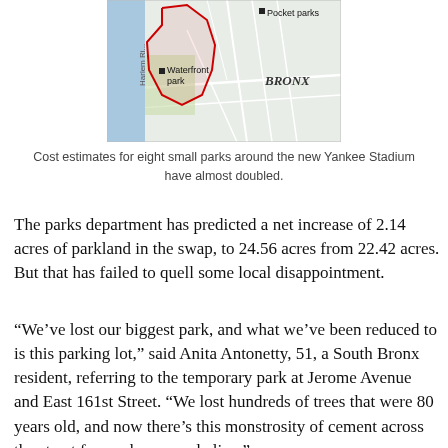[Figure (map): Map showing the Bronx area near Harlem River with marked locations for Pocket parks and Waterfront park, with red boundary lines marking the park area near Yankee Stadium.]
Cost estimates for eight small parks around the new Yankee Stadium have almost doubled.
The parks department has predicted a net increase of 2.14 acres of parkland in the swap, to 24.56 acres from 22.42 acres. But that has failed to quell some local disappointment.
“We’ve lost our biggest park, and what we’ve been reduced to is this parking lot,” said Anita Antonetty, 51, a South Bronx resident, referring to the temporary park at Jerome Avenue and East 161st Street. “We lost hundreds of trees that were 80 years old, and now there’s this monstrosity of cement across the street from where people live.”
The parks department gave the $95.5 million cost estimate for the replacement parks as part of the city’s final environmental impact study for the stadium project in August 2006.